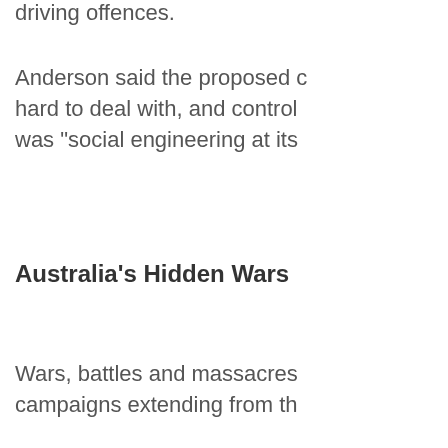driving offences.
Anderson said the proposed changes were hard to deal with, and control... was "social engineering at its...
Australia's Hidden Wars
Wars, battles and massacres... campaigns extending from th...
* The Hawkesbury and Nepea... clans between 1790-1816, in... sleeping Gundugara people.
* Tasmania's Black War of 18... exterminated the island's indi...
* The Port Phillip District War... colonists seizing their land.
* Queensland's Kalkadoon W...